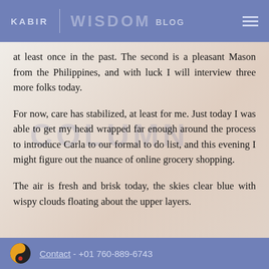KABIR | WISDOM BLOG
at least once in the past. The second is a pleasant Mason from the Philippines, and with luck I will interview three more folks today.
For now, care has stabilized, at least for me. Just today I was able to get my head wrapped far enough around the process to introduce Carla to our formal to do list, and this evening I might figure out the nuance of online grocery shopping.
The air is fresh and brisk today, the skies clear blue with wispy clouds floating about the upper layers.
Contact - +01 760-889-6743